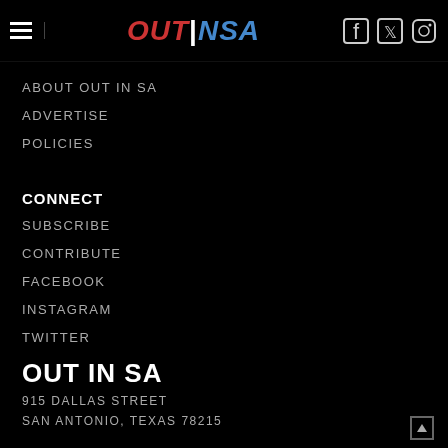OUTINSA — navigation header with hamburger menu and social icons
ABOUT OUT IN SA
ADVERTISE
POLICIES
CONNECT
SUBSCRIBE
CONTRIBUTE
FACEBOOK
INSTAGRAM
TWITTER
OUT IN SA
915 DALLAS STREET
SAN ANTONIO, TEXAS 78215